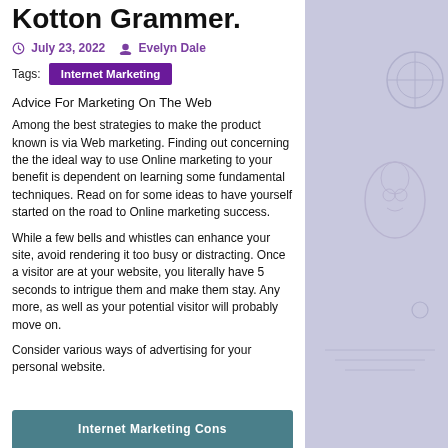Kotton Grammer.
July 23, 2022   Evelyn Dale
Tags:  Internet Marketing
Advice For Marketing On The Web
Among the best strategies to make the product known is via Web marketing. Finding out concerning the the ideal way to use Online marketing to your benefit is dependent on learning some fundamental techniques. Read on for some ideas to have yourself started on the road to Online marketing success.
While a few bells and whistles can enhance your site, avoid rendering it too busy or distracting. Once a visitor are at your website, you literally have 5 seconds to intrigue them and make them stay. Any more, as well as your potential visitor will probably move on.
Consider various ways of advertising for your personal website.
[Figure (other): Banner with teal background showing partial text 'Internet Marketing Cons...']